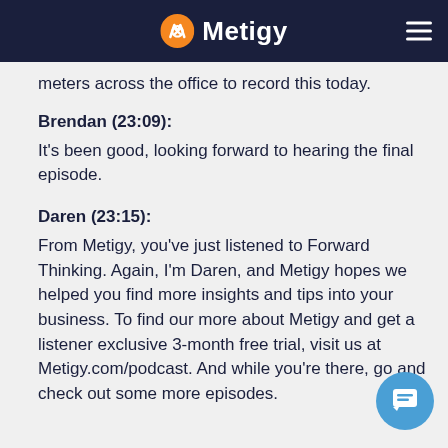Metigy
meters across the office to record this today.
Brendan (23:09):
It's been good, looking forward to hearing the final episode.
Daren (23:15):
From Metigy, you've just listened to Forward Thinking. Again, I'm Daren, and Metigy hopes we helped you find more insights and tips into your business. To find our more about Metigy and get a listener exclusive 3-month free trial, visit us at Metigy.com/podcast. And while you're there, go and check out some more episodes.